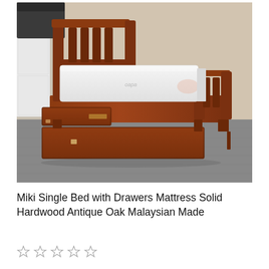[Figure (photo): A wooden single bed frame in antique oak finish with slatted headboard and footboard, a white mattress on top, and two storage drawers pulled out from underneath the bed, displayed in what appears to be a furniture showroom with grey carpet.]
Miki Single Bed with Drawers Mattress Solid Hardwood Antique Oak Malaysian Made
[Figure (other): Five empty star rating icons (outline only, no fill)]